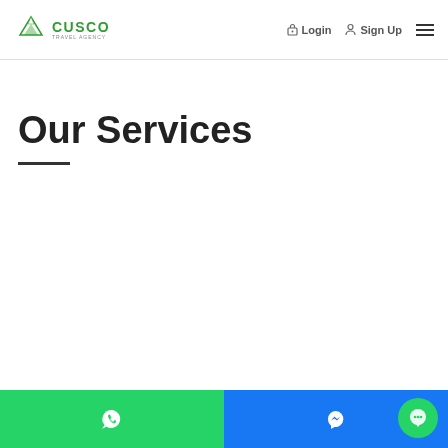Cusco Travel Agency — Login, Sign Up, Menu
Our Services
[Figure (other): Bottom navigation bar with WhatsApp (green), Messenger (blue), and chat bubble icons]